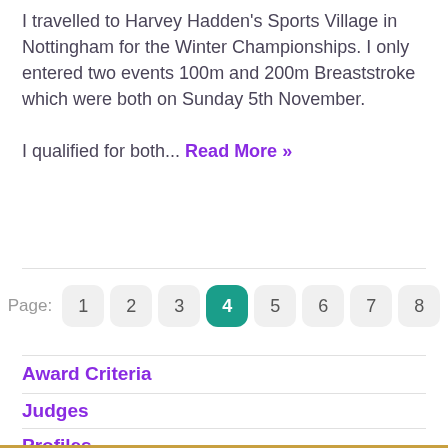I travelled to Harvey Hadden's Sports Village in Nottingham for the Winter Championships. I only entered two events 100m and 200m Breaststroke which were both on Sunday 5th November.

I qualified for both... Read More »
Page: 1 2 3 4 5 6 7 8
Award Criteria
Judges
Profiles